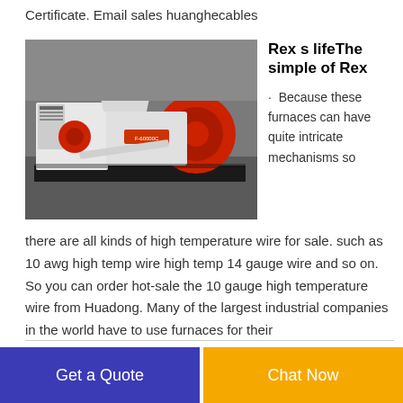Certificate. Email sales huanghecables
[Figure (photo): Industrial cable granulator / wire recycling machine — white and red machinery on a factory floor]
Rex s lifeThe simple of Rex
· Because these furnaces can have quite intricate mechanisms so
there are all kinds of high temperature wire for sale. such as 10 awg high temp wire high temp 14 gauge wire and so on. So you can order hot-sale the 10 gauge high temperature wire from Huadong. Many of the largest industrial companies in the world have to use furnaces for their
Get a Quote | Chat Now